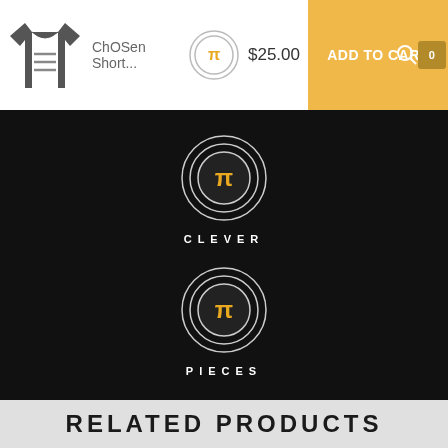ChOSen Short... $25.00 ADD TO CART
[Figure (logo): Two Clever Pieces brand logos on black background with circular badge design featuring stylized TC letters in gold. Labels: CLEVER and PIECES.]
RELATED PRODUCTS